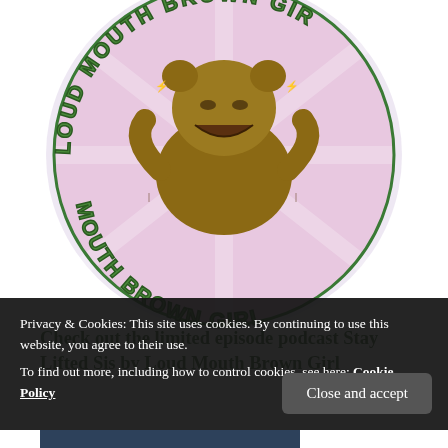[Figure (photo): Circular podcast badge/logo for 'Loud Mouth Brown Girl' featuring a cartoon brown bear figure in the center with colorful graffiti-style text reading 'LOUD MOUTH BROWN GIRL' around the edge on a pink/purple background, with lightning bolt decorations]
Check out the limited episode podcast Stay Lifted Sis by Loud Mouth Brown Girl
[Figure (photo): Partially visible image below the title, showing a dark purple/teal scene, partially obscured by cookie consent banner]
Privacy & Cookies: This site uses cookies. By continuing to use this website, you agree to their use.
To find out more, including how to control cookies, see here: Cookie Policy
Close and accept